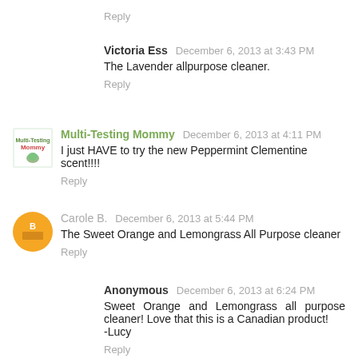Reply
Victoria Ess  December 6, 2013 at 3:43 PM
The Lavender allpurpose cleaner.
Reply
Multi-Testing Mommy  December 6, 2013 at 4:11 PM
I just HAVE to try the new Peppermint Clementine scent!!!!
Reply
Carole B.  December 6, 2013 at 5:44 PM
The Sweet Orange and Lemongrass All Purpose cleaner
Reply
Anonymous  December 6, 2013 at 6:24 PM
Sweet Orange and Lemongrass all purpose cleaner! Love that this is a Canadian product!
-Lucy
Reply